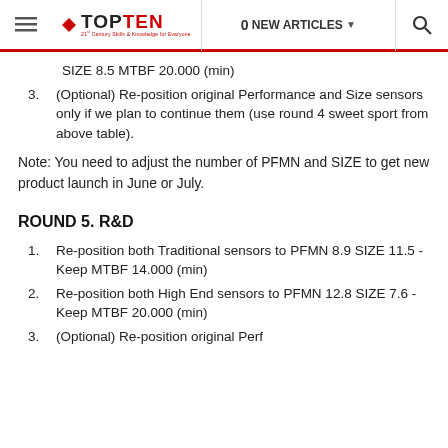TOPTEN | 0 NEW ARTICLES
SIZE 8.5 MTBF 20.000 (min)
3. (Optional) Re-position original Performance and Size sensors only if we plan to continue them (use round 4 sweet sport from above table).
Note: You need to adjust the number of PFMN and SIZE to get new product launch in June or July.
ROUND 5. R&D
1. Re-position both Traditional sensors to PFMN 8.9 SIZE 11.5 - Keep MTBF 14.000 (min)
2. Re-position both High End sensors to PFMN 12.8 SIZE 7.6 - Keep MTBF 20.000 (min)
3. (Optional) Re-position original Perf...